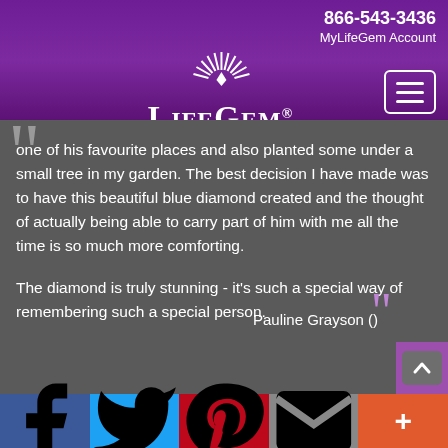866-543-3436 | MyLifeGem Account
[Figure (logo): LifeGem Ashes to Diamonds logo with sunburst and text]
one of his favourite places and also planted some under a small tree in my garden. The best decision I have made was to have this beautiful blue diamond created and the thought of actually being able to carry part of him with me all the time is so much more comforting.

The diamond is truly stunning - it's such a special way of remembering such a special person.
Pauline Grayson ()
Facebook | Twitter | Pinterest | Email | More